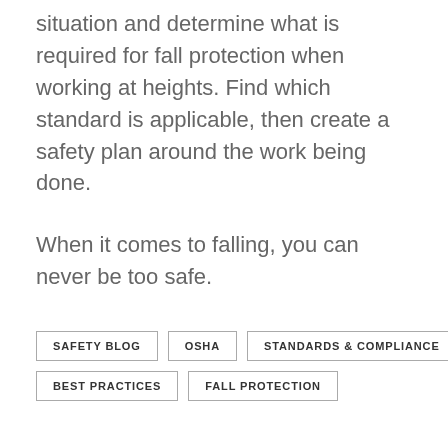situation and determine what is required for fall protection when working at heights. Find which standard is applicable, then create a safety plan around the work being done.
When it comes to falling, you can never be too safe.
SAFETY BLOG
OSHA
STANDARDS & COMPLIANCE
BEST PRACTICES
FALL PROTECTION